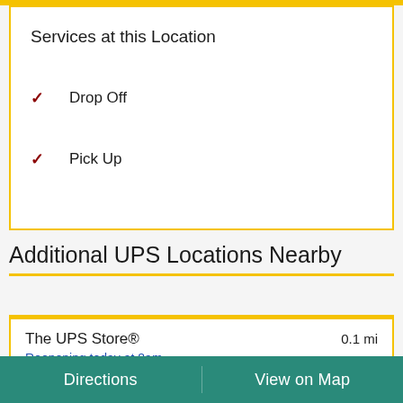Services at this Location
Drop Off
Pick Up
Additional UPS Locations Nearby
The UPS Store® 0.1 mi
Reopening today at 8am
Latest drop off: Ground: 6:30 PM | Air: 6:30 PM
Directions | View on Map